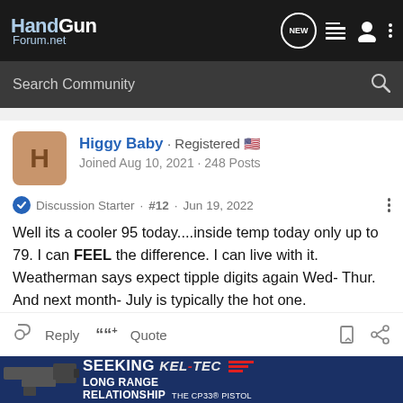[Figure (screenshot): HandGunForum.net navigation bar with logo, NEW chat icon, list icon, user icon, and dots menu on dark background]
[Figure (screenshot): Search Community search bar on dark gray background]
Higgy Baby · Registered 🇺🇸
Joined Aug 10, 2021 · 248 Posts
Discussion Starter · #12 · Jun 19, 2022
Well its a cooler 95 today....inside temp today only up to 79. I can FEEL the difference. I can live with it.
Weatherman says expect tipple digits again Wed- Thur. And next month- July is typically the hot one.
[Figure (screenshot): Reply and Quote action bar with bookmark and share icons]
[Figure (infographic): Kel-Tec CP33 pistol advertisement: SEEKING LONG RANGE RELATIONSHIP - THE CP33 PISTOL]